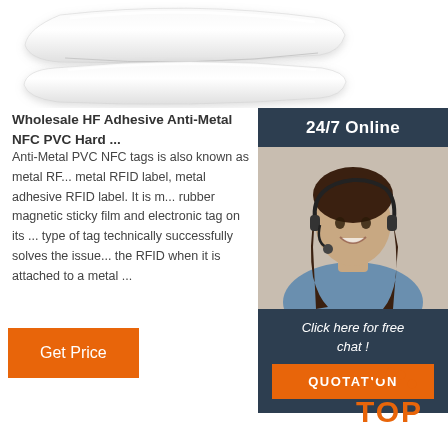[Figure (photo): Product image: white curved PVC/NFC tag roll or strip shown from above on white background]
Wholesale HF Adhesive Anti-Metal NFC PVC Hard ...
Anti-Metal PVC NFC tags is also known as metal RFID label, metal adhesive RFID label. It is made of rubber magnetic sticky film and electronic tag on its ... type of tag technically successfully solves the issue of the RFID when it is attached to a metal ...
[Figure (photo): Customer service sidebar widget with 24/7 Online header, photo of smiling woman with headset, Click here for free chat! text, and QUOTATION orange button]
Get Price
[Figure (logo): TOP logo mark with orange dot pattern forming an arch above the word TOP in orange text]